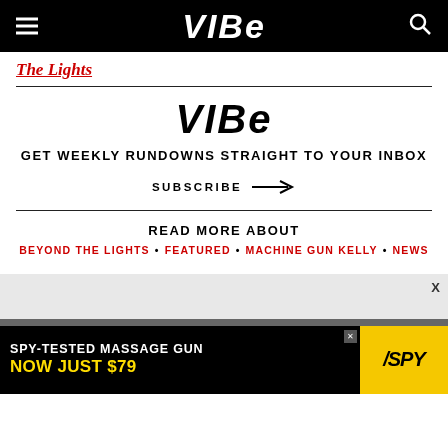VIBE
The Lights
[Figure (logo): VIBE logo in large bold italic black text centered on white background]
GET WEEKLY RUNDOWNS STRAIGHT TO YOUR INBOX
SUBSCRIBE →
READ MORE ABOUT
BEYOND THE LIGHTS • FEATURED • MACHINE GUN KELLY • NEWS
[Figure (infographic): Advertisement banner: SPY-TESTED MASSAGE GUN NOW JUST $79 with SPY logo on yellow background]